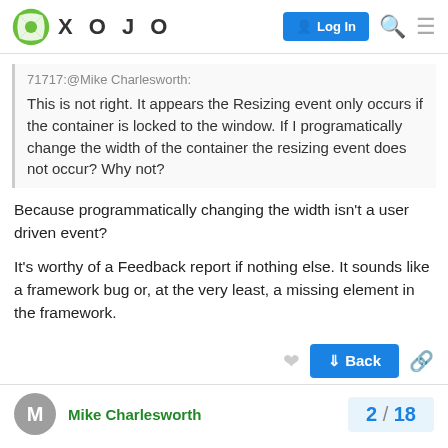XOJO — Log In
71717:@Mike Charlesworth:
This is not right. It appears the Resizing event only occurs if the container is locked to the window. If I programatically change the width of the container the resizing event does not occur? Why not?
Because programmatically changing the width isn't a user driven event?
It's worthy of a Feedback report if nothing else. It sounds like a framework bug or, at the very least, a missing element in the framework.
↓ Back
Mike Charlesworth  2 / 18